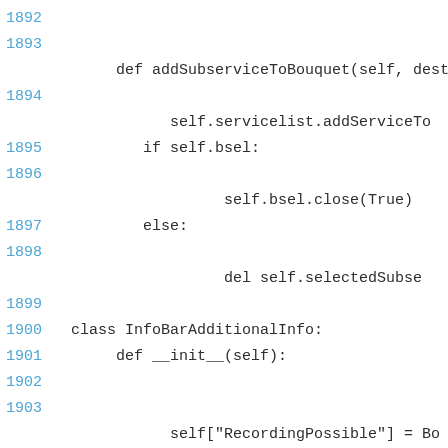1892
1893
def addSubserviceToBouquet(self, dest
1894
self.servicelist.addServiceTo
1895        if self.bsel:
1896
self.bsel.close(True)
1897        else:
1898
del self.selectedSubse
1899
1900 class InfoBarAdditionalInfo:
1901     def __init__(self):
1902
1903
self["RecordingPossible"] = Bo
1904
self["TimeshiftPossible"] = se
1905